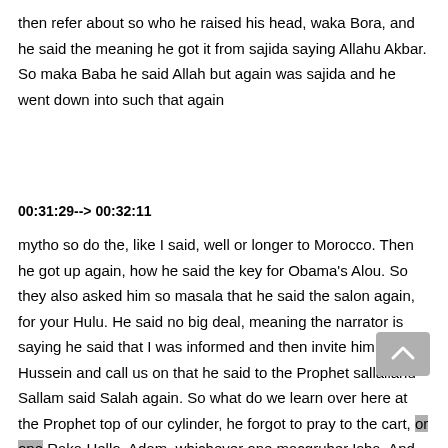then refer about so who he raised his head, waka Bora, and he said the meaning he got it from sajida saying Allahu Akbar. So maka Baba he said Allah but again was sajida and he went down into such that again
00:31:29--> 00:32:11
mytho so do the, like I said, well or longer to Morocco. Then he got up again, how he said the key for Obama's Alou. So they also asked him so masala that he said the salon again, for your Hulu. He said no big deal, meaning the narrator is saying he said that I was informed and then invite him to Hussein and call us on that he said to the Prophet sallallahu Sallam said Salah again. So what do we learn over here at the Prophet top of our cylinder, he forgot to pray to the cart, or one Raka Hello, Adam, whichever one macgruber Isha. And what